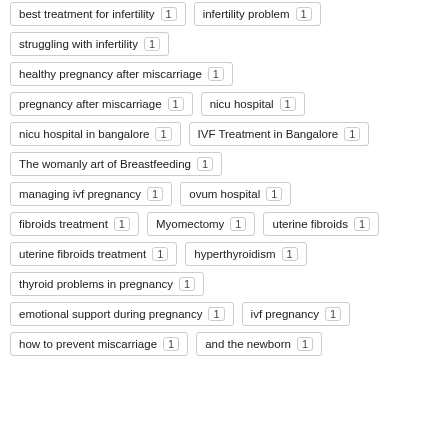best treatment for infertility 1
infertility problem 1
struggling with infertility 1
healthy pregnancy after miscarriage 1
pregnancy after miscarriage 1
nicu hospital 1
nicu hospital in bangalore 1
IVF Treatment in Bangalore 1
The womanly art of Breastfeeding 1
managing ivf pregnancy 1
ovum hospital 1
fibroids treatment 1
Myomectomy 1
uterine fibroids 1
uterine fibroids treatment 1
hyperthyroidism 1
thyroid problems in pregnancy 1
emotional support during pregnancy 1
ivf pregnancy 1
how to prevent miscarriage 1
and the newborn 1